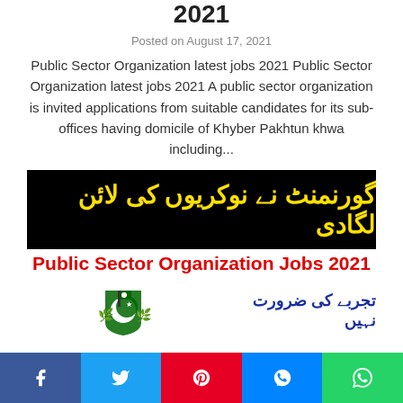2021
Posted on August 17, 2021
Public Sector Organization latest jobs 2021 Public Sector Organization latest jobs 2021 A public sector organization is invited applications from suitable candidates for its sub-offices having domicile of Khyber Pakhtun khwa including...
[Figure (infographic): Advertisement banner for Public Sector Organization Jobs 2021 with Urdu text in yellow on black background, red English title text, a government emblem/logo, and Urdu text in blue. Contains text: گورنمنٹ نے نوکریوں کی لائن لگادی, Public Sector Organization Jobs 2021, تجربے کی ضرورت نہیں]
Public Sector Organization Latest Jobs
f  (Facebook)  Twitter  Pinterest  Messenger  WhatsApp